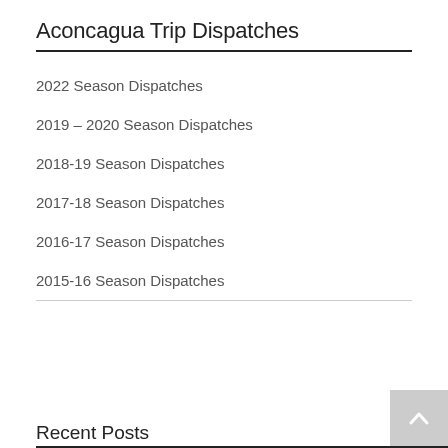Aconcagua Trip Dispatches
2022 Season Dispatches
2019 – 2020 Season Dispatches
2018-19 Season Dispatches
2017-18 Season Dispatches
2016-17 Season Dispatches
2015-16 Season Dispatches
Recent Posts